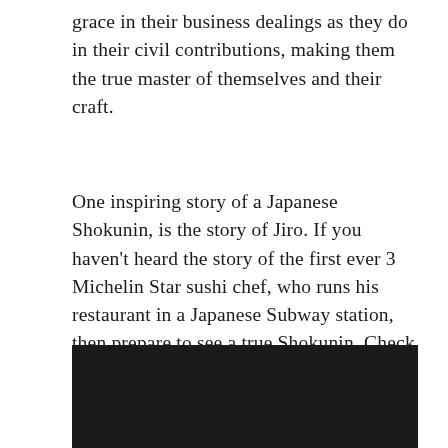grace in their business dealings as they do in their civil contributions, making them the true master of themselves and their craft.
One inspiring story of a Japanese Shokunin, is the story of Jiro. If you haven't heard the story of the first ever 3 Michelin Star sushi chef, who runs his restaurant in a Japanese Subway station, then prepare to see a true Shokunin. Check out this video:
[Figure (screenshot): A dark/black video player rectangle]